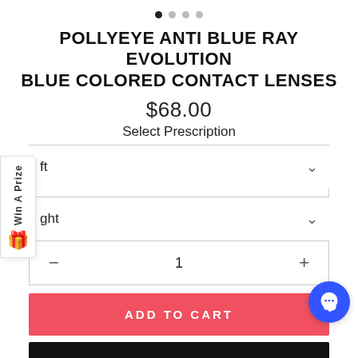[Figure (other): Carousel pagination dots: 4 dots, first one filled/dark, rest gray]
POLLYEYE ANTI BLUE RAY EVOLUTION BLUE COLORED CONTACT LENSES
$68.00
Select Prescription
ft (Left eye dropdown)
ght (Right eye dropdown)
- 1 + (Quantity selector)
ADD TO CART
BUY IT NOW
Win A Prize